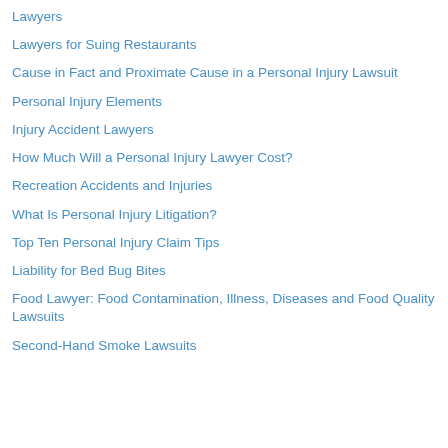Lawyers
Lawyers for Suing Restaurants
Cause in Fact and Proximate Cause in a Personal Injury Lawsuit
Personal Injury Elements
Injury Accident Lawyers
How Much Will a Personal Injury Lawyer Cost?
Recreation Accidents and Injuries
What Is Personal Injury Litigation?
Top Ten Personal Injury Claim Tips
Liability for Bed Bug Bites
Food Lawyer: Food Contamination, Illness, Diseases and Food Quality Lawsuits
Second-Hand Smoke Lawsuits